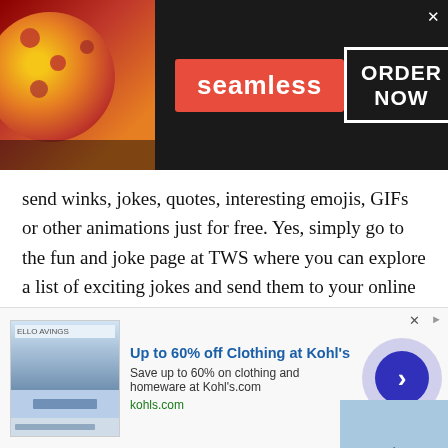[Figure (screenshot): Seamless food delivery advertisement banner with pizza image on left, Seamless red logo in center, and ORDER NOW button on right with close X button]
send winks, jokes, quotes, interesting emojis, GIFs or other animations just for free. Yes, simply go to the fun and joke page at TWS where you can explore a list of exciting jokes and send them to your online friends or family. Not only this, you can share or play online games via texting online.
Voice chat
Are you not a text person? Want to convey you
[Figure (screenshot): Bottom advertisement for Kohl's: Up to 60% off Clothing at Kohl's. Save up to 60% on clothing and homeware at Kohl's.com. kohls.com. With a blue arrow navigation button.]